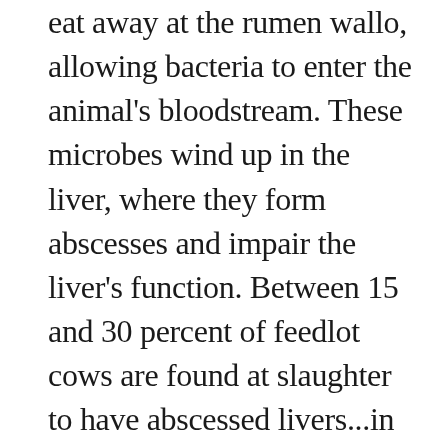eat away at the rumen wallo, allowing bacteria to enter the animal's bloodstream. These microbes wind up in the liver, where they form abscesses and impair the liver's function. Between 15 and 30 percent of feedlot cows are found at slaughter to have abscessed livers...in some pens, the figure runs as high as 70 percent.